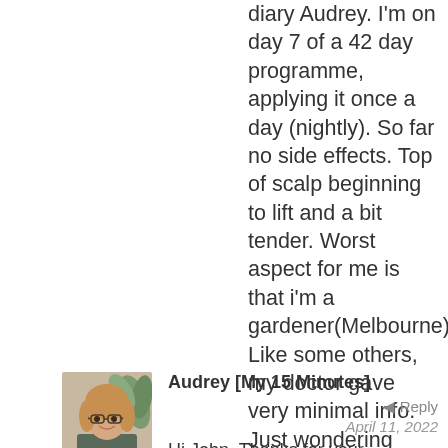diary Audrey. I'm on day 7 of a 42 day programme, applying it once a day (nightly). So far no side effects. Top of scalp beginning to lift and a bit tender. Worst aspect for me is that i'm a gardener(Melbourne)! Like some others, my doctor gave very minimal info. Just wondering what medications can be taken for itchiness/pain etc if/when it comes? Cheers.
[Figure (photo): Profile photo of Audrey, a woman with blonde hair wearing glasses, smiling, with a plant in the background]
Audrey [My 15 Minutes]
Reply
April 11, 2022
Hi John. Thanks for your comments last